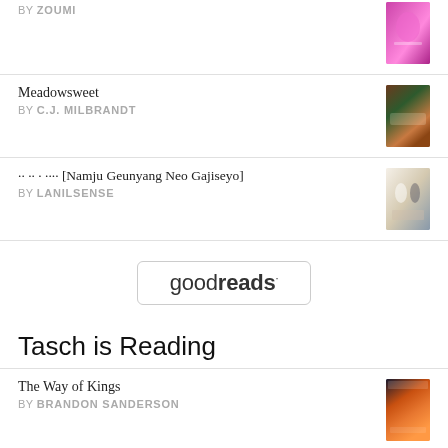BY ZOUMI
Meadowsweet
BY C.J. MILBRANDT
·· ·· · ···· [Namju Geunyang Neo Gajiseyo]
BY LANILSENSE
[Figure (logo): Goodreads logo in a rounded rectangle border]
Tasch is Reading
The Way of Kings
BY BRANDON SANDERSON
Cemetery Boys